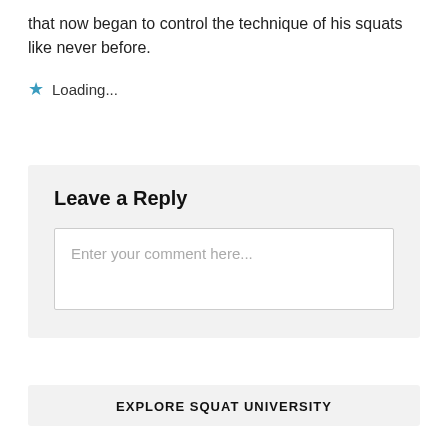that now began to control the technique of his squats like never before.
⭐ Loading...
Leave a Reply
Enter your comment here...
EXPLORE SQUAT UNIVERSITY